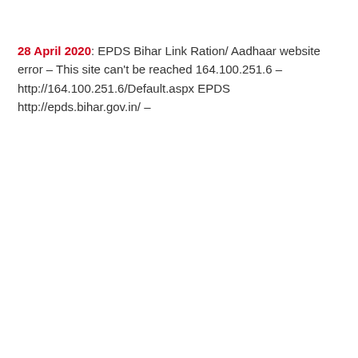28 April 2020: EPDS Bihar Link Ration/ Aadhaar website error – This site can't be reached 164.100.251.6 – http://164.100.251.6/Default.aspx EPDS http://epds.bihar.gov.in/ –